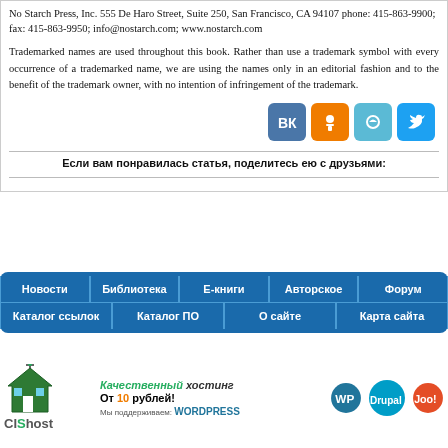No Starch Press, Inc. 555 De Haro Street, Suite 250, San Francisco, CA 94107 phone: 415-863-9900; fax: 415-863-9950; info@nostarch.com; www.nostarch.com
Trademarked names are used throughout this book. Rather than use a trademark symbol with every occurrence of a trademarked name, we are using the names only in an editorial fashion and to the benefit of the trademark owner, with no intention of infringement of the trademark.
[Figure (infographic): Social share buttons: VK (blue), Odnoklassniki (orange), Moi Mir (teal), Twitter (blue)]
Если вам понравилась статья, поделитесь ею с друзьями:
[Figure (infographic): Navigation bar with blue background containing links: Новости, Библиотека, Е-книги, Авторское, Форум (top row) and Каталог ссылок, Каталог ПО, О сайте, Карта сайта (bottom row)]
[Figure (infographic): CIShost banner ad: Качественный хостинг, От 10 рублей!, Мы поддерживаем: WordPress, Drupal, Joomla logos]